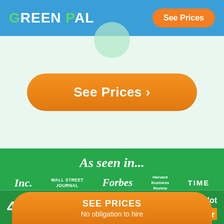GREENPAL | See Prices
[Figure (screenshot): GreenPal website screenshot showing header with logo and See Prices button, a large orange See Prices CTA button on light green background, and an 'As seen in...' section on green background with publication logos (Inc., Wall Street Journal, Forbes, Harvard Business Review, TIME), a 4.8 Trustpilot rating, and a floating SEE PRICES / No obligation to hire orange bar at the bottom.]